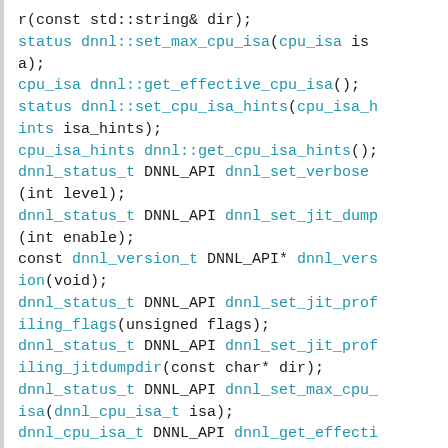[Figure (other): Code block showing C/C++ API function declarations for DNNL (Deep Neural Network Library), including dnnl::set_max_cpu_isa, dnnl::get_effective_cpu_isa, dnnl::set_cpu_isa_hints, dnnl::get_cpu_isa_hints, dnnl_set_verbose, dnnl_set_jit_dump, dnnl_version, dnnl_set_jit_profiling_flags, dnnl_set_jit_profiling_jitdumpdir, dnnl_set_max_cpu_isa, dnnl_get_effective_cpu_isa]